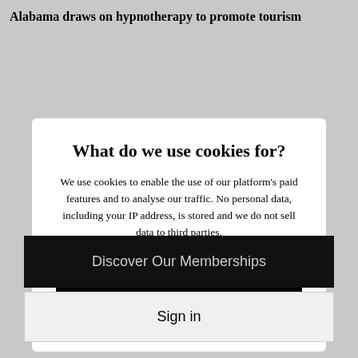Alabama draws on hypnotherapy to promote tourism
What do we use cookies for?
We use cookies to enable the use of our platform's paid features and to analyse our traffic. No personal data, including your IP address, is stored and we do not sell data to third parties.
GOT IT!
Learn more
Discover Our Memberships
Sign in